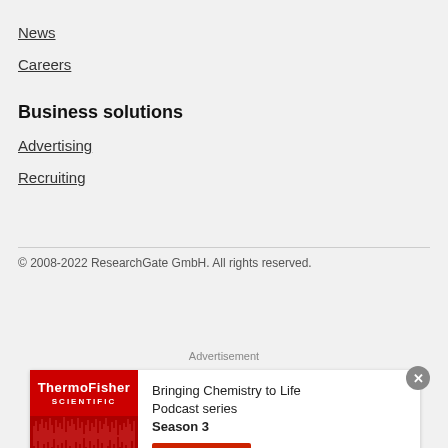News
Careers
Business solutions
Advertising
Recruiting
© 2008-2022 ResearchGate GmbH. All rights reserved.
[Figure (infographic): ThermoFisher Scientific advertisement banner: 'Bringing Chemistry to Life Podcast series Season 3' with a Listen now button and thermo scientific logo. Left side has red background with ThermoFisher Scientific logo and waveform graphic.]